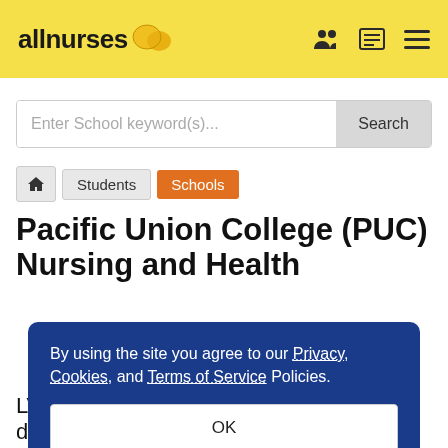allnurses
Enter School keyword(s)...   Search
Home / Students / Schools
Pacific Union College (PUC) Nursing and Health Science Department
By using the site you agree to our Privacy, Cookies, and Terms of Service Policies.
OK
LVN to RN, ASN, BSN, and RN to BSN degree